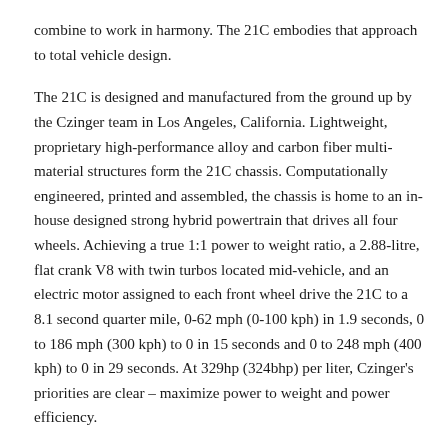combine to work in harmony. The 21C embodies that approach to total vehicle design.
The 21C is designed and manufactured from the ground up by the Czinger team in Los Angeles, California. Lightweight, proprietary high-performance alloy and carbon fiber multi-material structures form the 21C chassis. Computationally engineered, printed and assembled, the chassis is home to an in-house designed strong hybrid powertrain that drives all four wheels. Achieving a true 1:1 power to weight ratio, a 2.88-litre, flat crank V8 with twin turbos located mid-vehicle, and an electric motor assigned to each front wheel drive the 21C to a 8.1 second quarter mile, 0-62 mph (0-100 kph) in 1.9 seconds, 0 to 186 mph (300 kph) to 0 in 15 seconds and 0 to 248 mph (400 kph) to 0 in 29 seconds. At 329hp (324bhp) per liter, Czinger's priorities are clear – maximize power to weight and power efficiency.